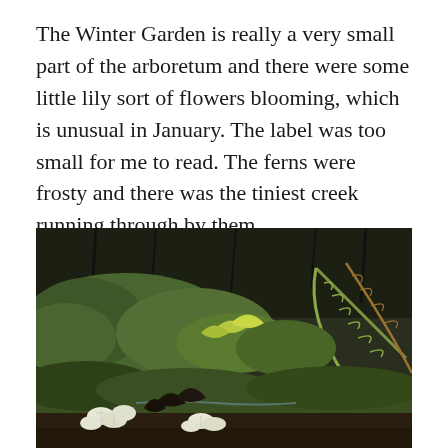The Winter Garden is really a very small part of the arboretum and there were some little lily sort of flowers blooming, which is unusual in January. The label was too small for me to read. The ferns were frosty and there was the tiniest creek running through by them.
[Figure (photo): A photograph of a winter garden scene showing frosty ferns, low green shrubs, and white lily-like flowers blooming in the foreground. Dark trees and foliage fill the background.]